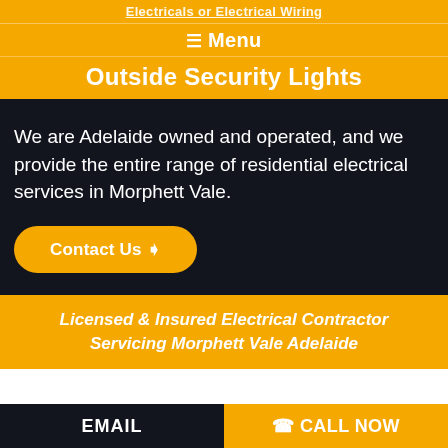Electricals or Electrical Wiring
☰ Menu
Outside Security Lights
We are Adelaide owned and operated, and we provide the entire range of residential electrical services in Morphett Vale.
Contact Us ❯
Licensed & Insured Electrical Contractor Servicing Morphett Vale Adelaide
EMAIL    ☎ CALL NOW